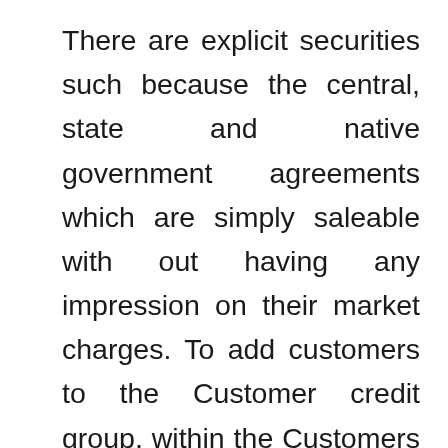There are explicit securities such because the central, state and native government agreements which are simply saleable with out having any impression on their market charges. To add customers to the Customer credit group, within the Customers section, click on Add customers. High-quality credit choices will lead to a healthy increase in firm revenues whereas lowering receivables risk. Credit Glory is a credit restore company that helps on a regular basis Americans take away inaccurate, incomplete, unverifiable, unauthorized, or fraudulent negative gadgets from their credit report. Their main aim is